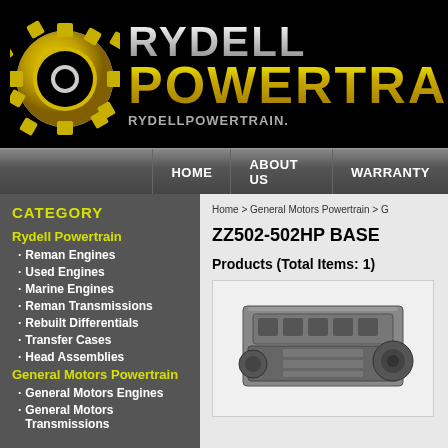[Figure (logo): Rydell Powertrain logo with yellow gear icon and brand name text on black background]
HOME | ABOUT US | WARRANTY
CATEGORY
Rydell Powertrain
Reman Engines
Used Engines
Marine Engines
Reman Transmissions
Rebuilt Differentials
Transfer Cases
Head Assemblies
General Motors Powertrain
General Motors Engines
General Motors Transmissions
Home > General Motors Powertrain > G
ZZ502-502HP BASE
Products (Total Items: 1)
[Figure (photo): Engine photo - ZZ502-502HP BASE engine]